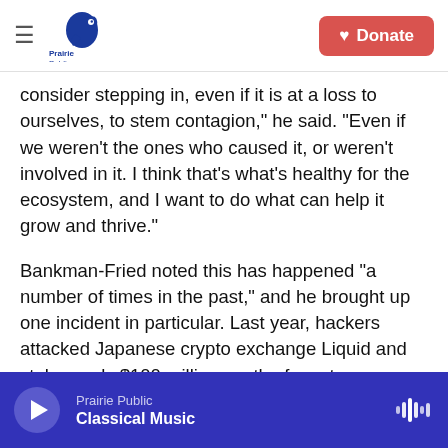Prairie Public | Donate
consider stepping in, even if it is at a loss to ourselves, to stem contagion," he said. "Even if we weren't the ones who caused it, or weren't involved in it. I think that's what's healthy for the ecosystem, and I want to do what can help it grow and thrive."
Bankman-Fried noted this has happened "a number of times in the past," and he brought up one incident in particular. Last year, hackers attacked Japanese crypto exchange Liquid and stole nearly $100 million worth of cryptocurrency.
FTX provided Liquid with $120 million in financing. Shortly thereafter, FTX announced plans to acquire
Prairie Public | Classical Music